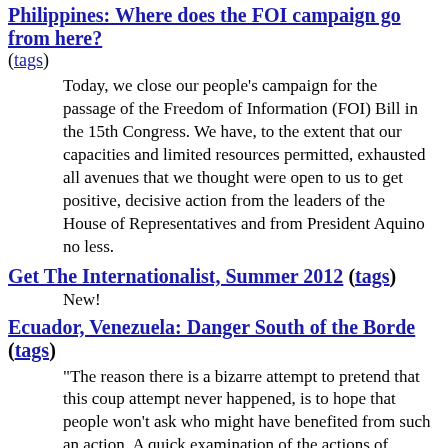Philippines: Where does the FOI campaign go from here?
(tags)
Today, we close our people’s campaign for the passage of the Freedom of Information (FOI) Bill in the 15th Congress. We have, to the extent that our capacities and limited resources permitted, exhausted all avenues that we thought were open to us to get positive, decisive action from the leaders of the House of Representatives and from President Aquino no less.
Get The Internationalist, Summer 2012 (tags)
New!
Ecuador, Venezuela: Danger South of the Borde (tags)
"The reason there is a bizarre attempt to pretend that this coup attempt never happened, is to hope that people won’t ask who might have benefited from such an action. A quick examination of the actions of President Correa sheds considerable light on that. In 2006, working with President Hugo Chávez of Venezuela, Correa moved to increase state control over oil production in the country.[9] In 2008, he announced that Ecuador would not pay several billions